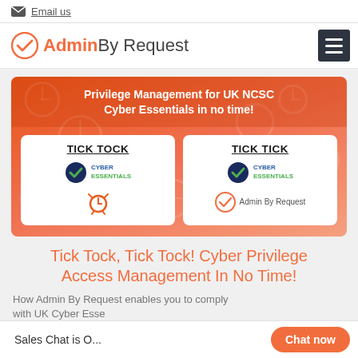Email us
Admin By Request
[Figure (infographic): Promotional banner for Admin By Request showing 'Privilege Management for UK NCSC Cyber Essentials in no time!' with two cards: TICK TOCK (Cyber Essentials logo + alarm clock) and TICK TICK (Cyber Essentials logo + Admin By Request logo), set against an orange background with clock imagery.]
Tick Tock, Tick Tock! Cyber Privilege Access Management In No Time!
How Admin By Request enables you to comply with UK Cyber Essentials requirements
Sales Chat is O...